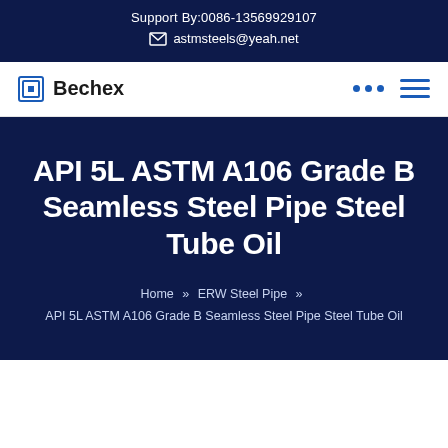Support By:0086-13569929107
astmsteels@yeah.net
Bechex
API 5L ASTM A106 Grade B Seamless Steel Pipe Steel Tube Oil
Home » ERW Steel Pipe » API 5L ASTM A106 Grade B Seamless Steel Pipe Steel Tube Oil